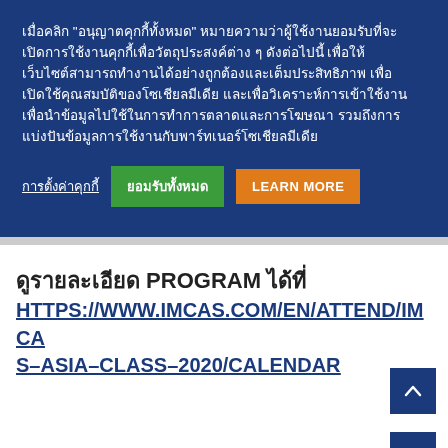เมื่อคลิก "อนุญาตคุกกี้ทั้งหมด" หมายความว่าผู้ใช้งานยอมรับที่จะเปิดการใช้งานคุกกี้เพื่อวัตถุประสงค์ต่าง ๆ ดังต่อไปนี้ เพื่อให้เว็บไซต์สามารถทำงานได้อย่างถูกต้องและเต็มประสิทธิภาพ เพื่อเปิดใช้คุณสมบัติของโซเชียลมีเดีย และเพื่อวิเคราะห์การเข้าใช้งาน เพื่อนำข้อมูลไปใช้ในการทำการตลาดและการโฆษณา รวมถึงการแบ่งปันข้อมูลการใช้งานกับพาร์ทเนอร์โซเชียลมีเดีย
การตั้งค่าคุกกี้
ยอมรับทั้งหมด
LEARN MORE
ดูรายละเอียด PROGRAM ได้ที่ HTTPS://WWW.IMCAS.COM/EN/ATTEND/IMCAS-ASIA-CLASS-2020/CALENDAR